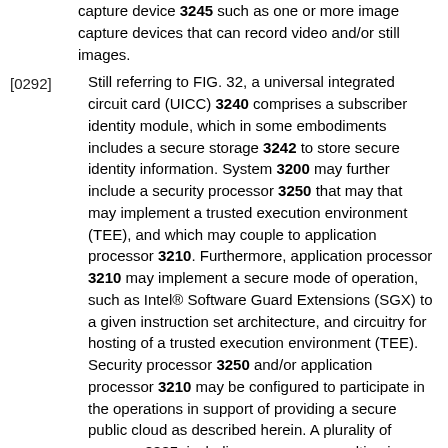capture device 3245 such as one or more image capture devices that can record video and/or still images.
[0292] Still referring to FIG. 32, a universal integrated circuit card (UICC) 3240 comprises a subscriber identity module, which in some embodiments includes a secure storage 3242 to store secure identity information. System 3200 may further include a security processor 3250 that may that may implement a trusted execution environment (TEE), and which may couple to application processor 3210. Furthermore, application processor 3210 may implement a secure mode of operation, such as Intel® Software Guard Extensions (SGX) to a given instruction set architecture, and circuitry for hosting of a trusted execution environment (TEE). Security processor 3250 and/or application processor 3210 may be configured to participate in the operations in support of providing a secure public cloud as described herein. A plurality of sensors 3225, including one or more multi-axis accelerometers may couple to application processor 3210 to